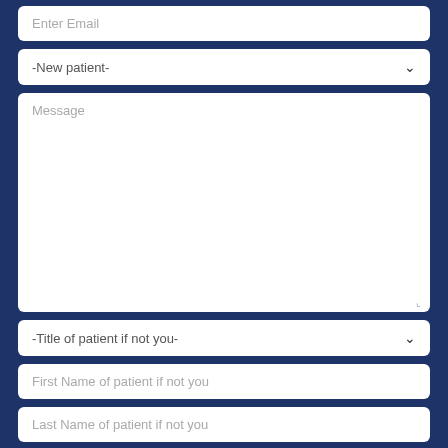Enter Email
-New patient-
Message
-Title of patient if not you-
First Name of patient if not you
Last Name of patient if not you